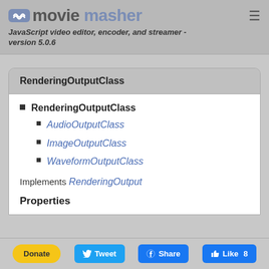movie masher — JavaScript video editor, encoder, and streamer - version 5.0.6
RenderingOutputClass
RenderingOutputClass
AudioOutputClass
ImageOutputClass
WaveformOutputClass
Implements RenderingOutput
Properties
Donate  Tweet  Share  Like 8